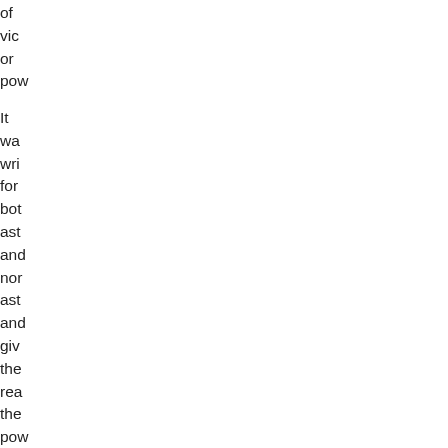of vict or pov It wa wri for bot ast and nor ast and giv the rea the po to und wh sor thin hap